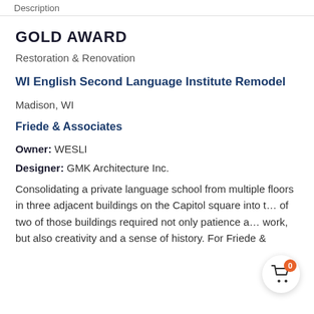Description
GOLD AWARD
Restoration & Renovation
WI English Second Language Institute Remodel
Madison, WI
Friede & Associates
Owner: WESLI
Designer: GMK Architecture Inc.
Consolidating a private language school from multiple floors in three adjacent buildings on the Capitol square into t... of two of those buildings required not only patience a... work, but also creativity and a sense of history. For Friede &